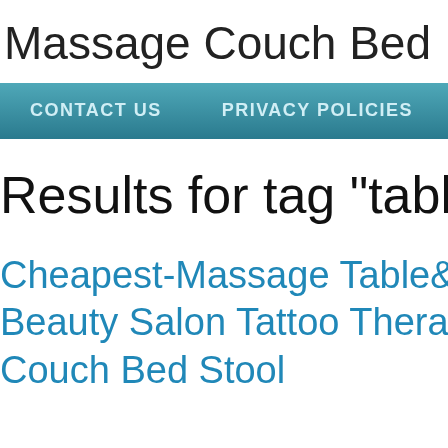Massage Couch Bed
CONTACT US   PRIVACY POLICIES   TERMS
Results for tag "table
Cheapest-Massage Table& Beauty Salon Tattoo Thera Couch Bed Stool